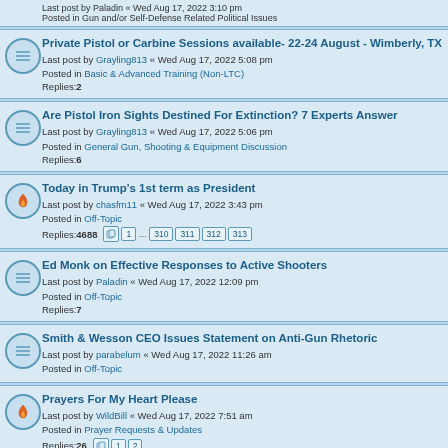Last post by Paladin « Wed Aug 17, 2022 3:10 pm
Posted in Gun and/or Self-Defense Related Political Issues
Private Pistol or Carbine Sessions available- 22-24 August - Wimberly, TX
Last post by Grayling813 « Wed Aug 17, 2022 5:08 pm
Posted in Basic & Advanced Training (Non-LTC)
Replies: 2
Are Pistol Iron Sights Destined For Extinction? 7 Experts Answer
Last post by Grayling813 « Wed Aug 17, 2022 5:06 pm
Posted in General Gun, Shooting & Equipment Discussion
Replies: 6
Today in Trump's 1st term as President
Last post by chasfm11 « Wed Aug 17, 2022 3:43 pm
Posted in Off-Topic
Replies: 4688
Pages: 1 ... 310 311 312 313
Ed Monk on Effective Responses to Active Shooters
Last post by Paladin « Wed Aug 17, 2022 12:09 pm
Posted in Off-Topic
Replies: 7
Smith & Wesson CEO Issues Statement on Anti-Gun Rhetoric
Last post by parabelum « Wed Aug 17, 2022 11:26 am
Posted in Off-Topic
Prayers For My Heart Please
Last post by WildBill « Wed Aug 17, 2022 7:51 am
Posted in Prayer Requests & Updates
Replies: 26
Pages: 1 2